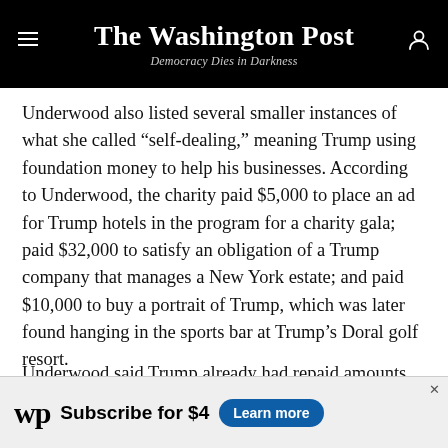The Washington Post — Democracy Dies in Darkness
Underwood also listed several smaller instances of what she called “self-dealing,” meaning Trump using foundation money to help his businesses. According to Underwood, the charity paid $5,000 to place an ad for Trump hotels in the program for a charity gala; paid $32,000 to satisfy an obligation of a Trump company that manages a New York estate; and paid $10,000 to buy a portrait of Trump, which was later found hanging in the sports bar at Trump’s Doral golf resort.
Underwood said Trump already had repaid amounts
[Figure (other): Washington Post subscription advertisement banner: WP logo, 'Subscribe for $4', 'Learn more' button]